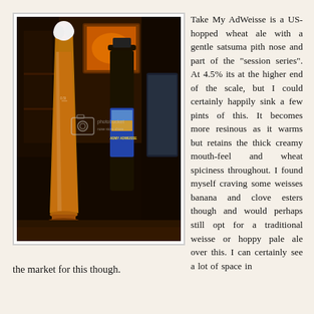[Figure (photo): Photo of a wheat beer poured in a tall glass next to a dark bottle labeled 'My AdWeisse', on a wooden table with dark background. Photobucket watermark visible.]
Take My AdWeisse is a US-hopped wheat ale with a gentle satsuma pith nose and part of the "session series". At 4.5% its at the higher end of the scale, but I could certainly happily sink a few pints of this. It becomes more resinous as it warms but retains the thick creamy mouth-feel and wheat spiciness throughout. I found myself craving some weisses banana and clove esters though and would perhaps still opt for a traditional weisse or hoppy pale ale over this. I can certainly see a lot of space in the market for this though.